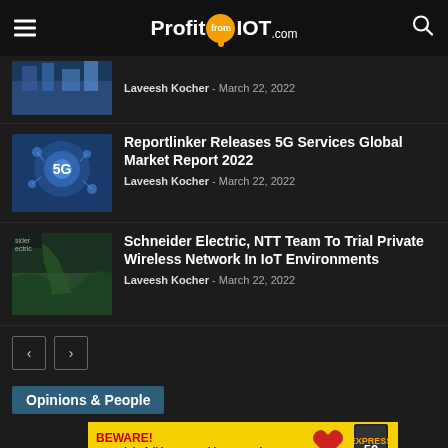ProfitfromIOT.com
Laveesh Kocher - March 22, 2022
Reportlinker Releases 5G Services Global Market Report 2022
Laveesh Kocher - March 22, 2022
Schneider Electric, NTT Team To Trial Private Wireless Network In IoT Environments
Laveesh Kocher - March 22, 2022
Opinions & People
[Figure (other): Advertisement banner: BEWARE! You might fall in LOVE with a magazine! with heart and magazine imagery]
rating